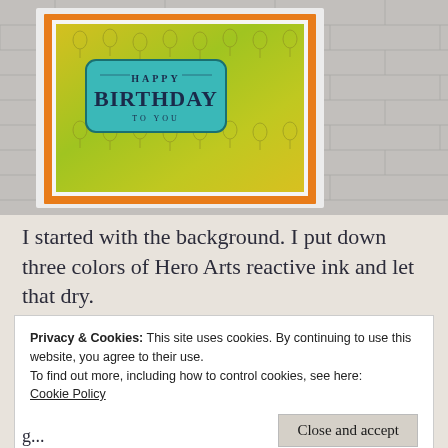[Figure (photo): A handmade birthday card with orange border, yellow-green balloon-patterned background, and a teal label reading HAPPY BIRTHDAY TO YOU, photographed against a grey brick wall background.]
I started with the background. I put down three colors of Hero Arts reactive ink and let that dry.
Privacy & Cookies: This site uses cookies. By continuing to use this website, you agree to their use.
To find out more, including how to control cookies, see here:
Cookie Policy
Close and accept
g...